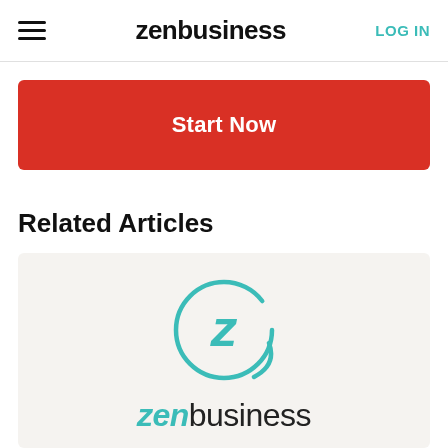zenbusiness | LOG IN
Start Now
Related Articles
[Figure (logo): ZenBusiness logo: teal circular Z icon above the wordmark 'zenbusiness' with 'zen' in teal italic and 'business' in dark gray]